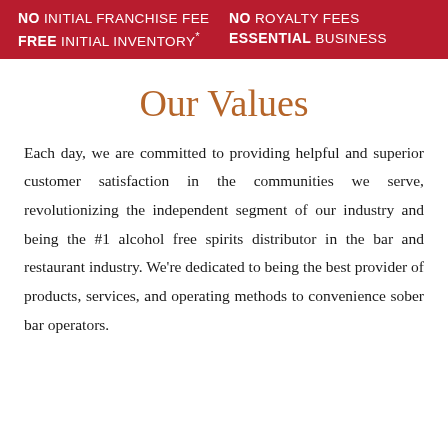NO INITIAL FRANCHISE FEE | NO ROYALTY FEES | FREE INITIAL INVENTORY* | ESSENTIAL BUSINESS
Our Values
Each day, we are committed to providing helpful and superior customer satisfaction in the communities we serve, revolutionizing the independent segment of our industry and being the #1 alcohol free spirits distributor in the bar and restaurant industry. We're dedicated to being the best provider of products, services, and operating methods to convenience sober bar operators.